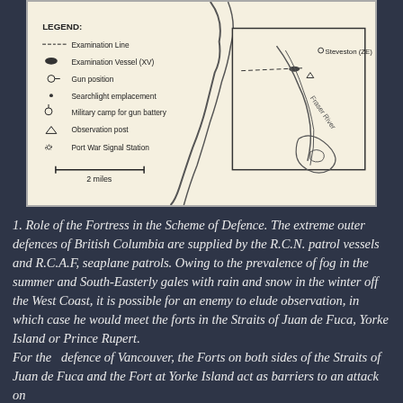[Figure (map): Military map showing the Fraser River delta area near Steveston (ZE), with a legend indicating Examination Line, Examination Vessel (XV), Gun position, Searchlight emplacement, Military camp for gun battery, Observation post, Port War Signal Station, and a 2-mile scale bar. An inset map shows the Steveston area with the Fraser River labeled.]
1. Role of the Fortress in the Scheme of Defence. The extreme outer defences of British Columbia are supplied by the R.C.N. patrol vessels and R.C.A.F, seaplane patrols. Owing to the prevalence of fog in the summer and South-Easterly gales with rain and snow in the winter off the West Coast, it is possible for an enemy to elude observation, in which case he would meet the forts in the Straits of Juan de Fuca, Yorke Island or Prince Rupert.
For the  defence of Vancouver, the Forts on both sides of the Straits of Juan de Fuca and the Fort at Yorke Island act as barriers to an attack on